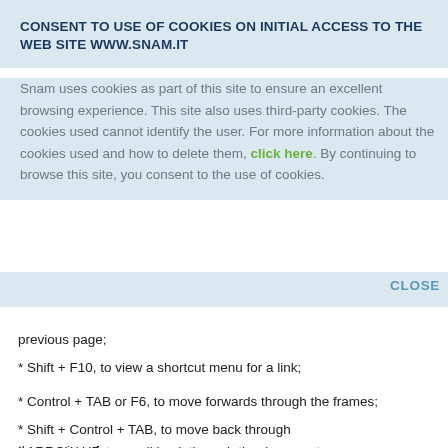CONSENT TO USE OF COOKIES ON INITIAL ACCESS TO THE WEB SITE WWW.SNAM.IT
Snam uses cookies as part of this site to ensure an excellent browsing experience. This site also uses third-party cookies. The cookies used cannot identify the user. For more information about the cookies used and how to delete them, click here. By continuing to browse this site, you consent to the use of cookies.
CLOSE
previous page;
* Shift + F10, to view a shortcut menu for a link;
* Control + TAB or F6, to move forwards through the frames;
* Shift + Control + TAB, to move back through the previous frames;
* ARROW UP, to scroll back through the documents;